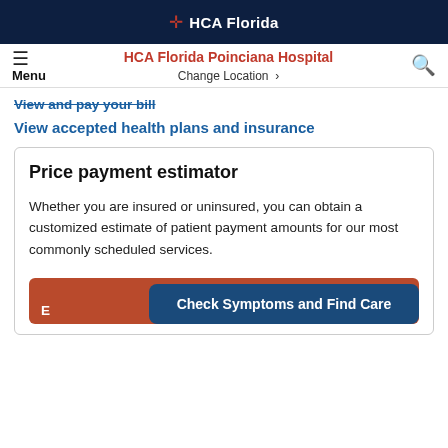HCA Florida
HCA Florida Poinciana Hospital
Change Location
View and pay your bill
View accepted health plans and insurance
Price payment estimator
Whether you are insured or uninsured, you can obtain a customized estimate of patient payment amounts for our most commonly scheduled services.
Check Symptoms and Find Care